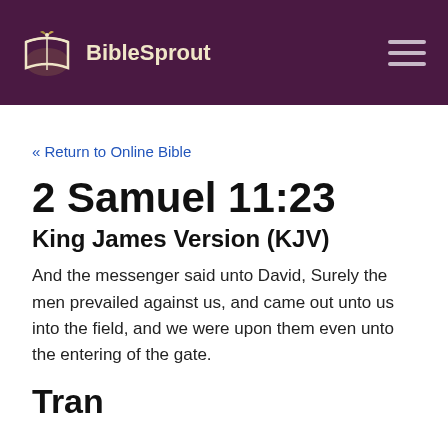BibleSprout
« Return to Online Bible
2 Samuel 11:23
King James Version (KJV)
And the messenger said unto David, Surely the men prevailed against us, and came out unto us into the field, and we were upon them even unto the entering of the gate.
Translations